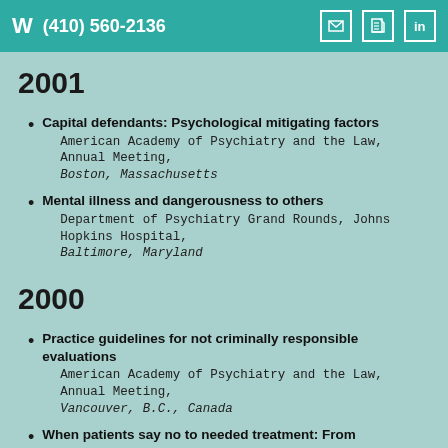W (410) 560-2136
2001
Capital defendants: Psychological mitigating factors
American Academy of Psychiatry and the Law, Annual Meeting, Boston, Massachusetts
Mental illness and dangerousness to others
Department of Psychiatry Grand Rounds, Johns Hopkins Hospital, Baltimore, Maryland
2000
Practice guidelines for not criminally responsible evaluations
American Academy of Psychiatry and the Law, Annual Meeting, Vancouver, B.C., Canada
When patients say no to needed treatment: From persuasion to coercion
Guttmacher Forensic Institute, Baltimore, Maryland